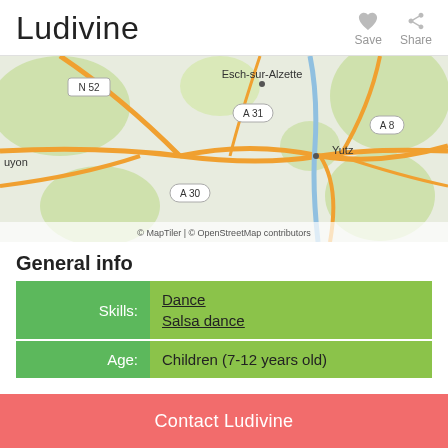Ludivine
[Figure (map): Map showing region near Esch-sur-Alzette, Luxembourg and Yutz, France with road labels N 52, A 31, A 8, A 30. Attribution: © MapTiler | © OpenStreetMap contributors]
General info
| Skills: | Dance
Salsa dance |
| Age: | Children (7-12 years old) |
Contact Ludivine